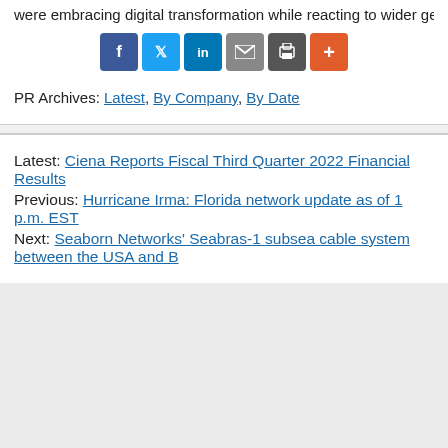were embracing digital transformation while reacting to wider geo-political and e…
[Figure (other): Social sharing buttons: Facebook (blue), Twitter (light blue), LinkedIn (blue), Email (grey), Print (dark grey), More (orange-red)]
PR Archives: Latest, By Company, By Date
Latest: Ciena Reports Fiscal Third Quarter 2022 Financial Results
Previous: Hurricane Irma: Florida network update as of 1 p.m. EST
Next: Seaborn Networks' Seabras-1 subsea cable system between the USA and B…